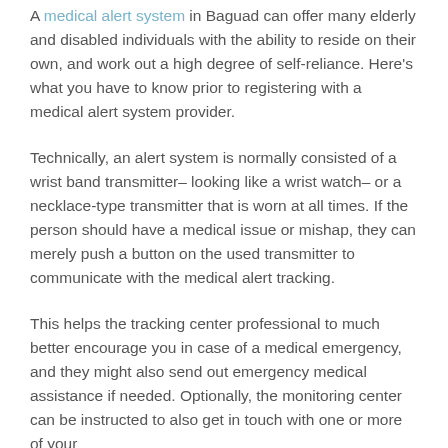A medical alert system in Baguad can offer many elderly and disabled individuals with the ability to reside on their own, and work out a high degree of self-reliance. Here's what you have to know prior to registering with a medical alert system provider.
Technically, an alert system is normally consisted of a wrist band transmitter– looking like a wrist watch– or a necklace-type transmitter that is worn at all times. If the person should have a medical issue or mishap, they can merely push a button on the used transmitter to communicate with the medical alert tracking.
This helps the tracking center professional to much better encourage you in case of a medical emergency, and they might also send out emergency medical assistance if needed. Optionally, the monitoring center can be instructed to also get in touch with one or more of your